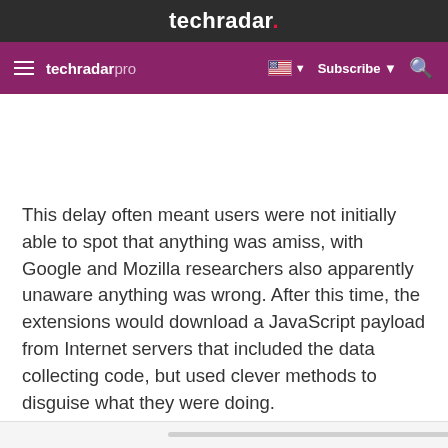techradar.
techradar pro  Subscribe
This delay often meant users were not initially able to spot that anything was amiss, with Google and Mozilla researchers also apparently unaware anything was wrong. After this time, the extensions would download a JavaScript payload from Internet servers that included the data collecting code, but used clever methods to disguise what they were doing.